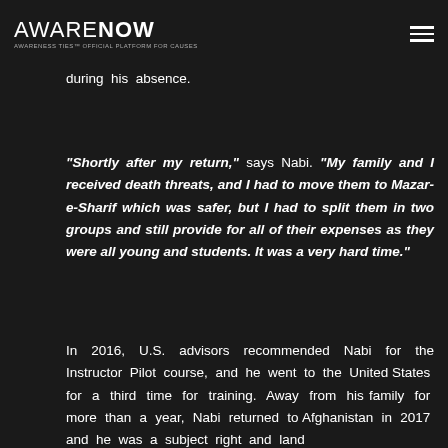AWARE NOW — AWARENESS TIES™ OFFICIAL PLATFORM FOR CAUSES
A-29 Super Tucano. In 2016, he returned to Afghanistan and provided ground support in the province where he lived; which had become unstable during his absence.
“Shortly after my return,” says Nabi. “My family and I received death threats, and I had to move them to Mazar-e-Sharif which was safer, but I had to split them in two groups and still provide for all of their expenses as they were all young and students. It was a very hard time.”
In 2016, U.S. advisors recommended Nabi for the Instructor Pilot course, and he went to the United States for a third time for training. Away from his family for more than a year, Nabi returned to Afghanistan in 2017 and he was a subject right and land